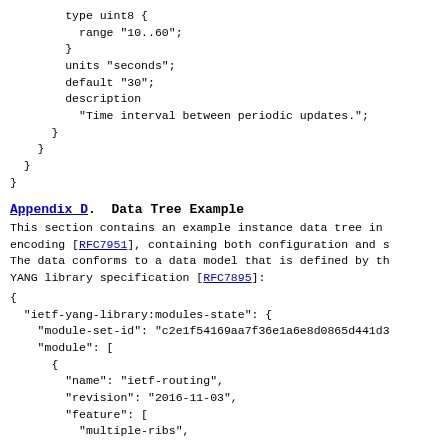type uint8 {
          range "10..60";
        }
        units "seconds";
        default "30";
        description
          "Time interval between periodic updates.";
      }
    }
  }
}
Appendix D.  Data Tree Example
This section contains an example instance data tree in
encoding [RFC7951], containing both configuration and s
The data conforms to a data model that is defined by th
YANG library specification [RFC7895]:
{
  "ietf-yang-library:modules-state": {
    "module-set-id": "c2e1f54169aa7f36e1a6e8d0865d441d3
    "module": [
      {
        "name": "ietf-routing",
        "revision": "2016-11-03",
        "feature": [
          "multiple-ribs",